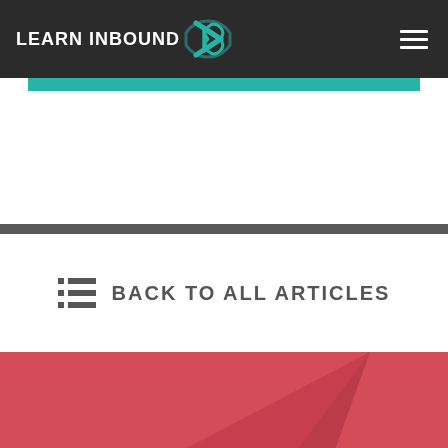LEARN INBOUND
BACK TO ALL ARTICLES
[Figure (illustration): Red background section with a faint paper airplane icon]